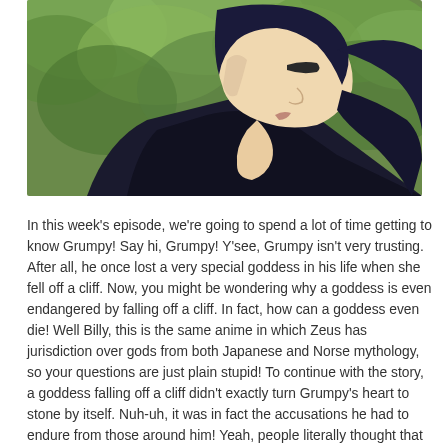[Figure (illustration): Anime screenshot showing a side profile of a male character with dark hair and pale skin, wearing a dark outfit, with green trees/foliage in the blurred background.]
In this week's episode, we're going to spend a lot of time getting to know Grumpy! Say hi, Grumpy! Y'see, Grumpy isn't very trusting. After all, he once lost a very special goddess in his life when she fell off a cliff. Now, you might be wondering why a goddess is even endangered by falling off a cliff. In fact, how can a goddess even die! Well Billy, this is the same anime in which Zeus has jurisdiction over gods from both Japanese and Norse mythology, so your questions are just plain stupid! To continue with the story, a goddess falling off a cliff didn't exactly turn Grumpy's heart to stone by itself. Nuh-uh, it was in fact the accusations he had to endure from those around him! Yeah, people literally thought that a lil'